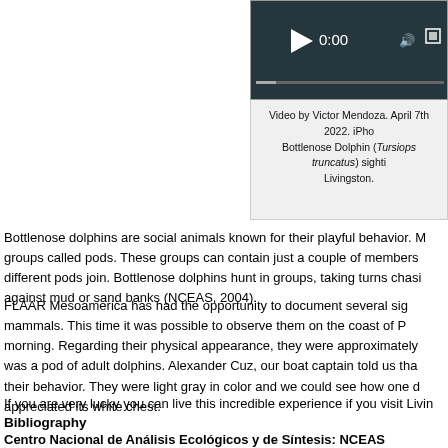[Figure (screenshot): Video player screenshot showing a dark teal underwater scene with play button and 0:00 timestamp]
Video by Victor Mendoza. April 7th 2022. iPhone. Bottlenose Dolphin (Tursiops truncatus) sighting in Livingston.
Bottlenose dolphins are social animals known for their playful behavior. Many live in groups called pods. These groups can contain just a couple of members or different pods join. Bottlenose dolphins hunt in groups, taking turns chasing against mud or sand banks (NCEAS, 2004).
FLAAR Mesoamerica has had the opportunity to document several sightings of these mammals. This time it was possible to observe them on the coast of Puerto Barrios morning. Regarding their physical appearance, they were approximately and it was a pod of adult dolphins. Alexander Cuz, our boat captain told us that their behavior. They were light gray in color and we could see how one dolphin appreciated its white chest.
If you are very lucky you can live this incredible experience if you visit Livingston.
Bibliography
Centro Nacional de Análisis Ecológicos y de Síntesis: NCEAS
2004    Delfin Nariz de Botella. Mamiferos merinos del Proyecto: Kids Do Ecology

Downloadable Online: